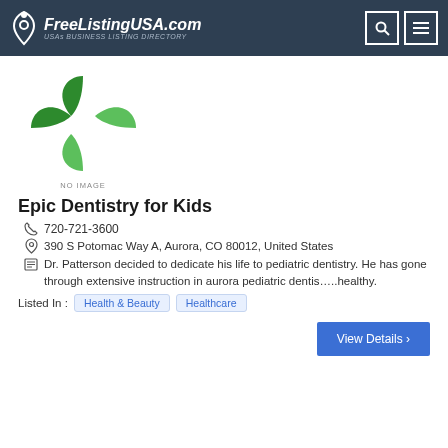FreeListingUSA.com — USAs BUSINESS LISTING DIRECTORY
[Figure (logo): Green four-leaf plant logo with NO IMAGE text below]
Epic Dentistry for Kids
720-721-3600
390 S Potomac Way A, Aurora, CO 80012, United States
Dr. Patterson decided to dedicate his life to pediatric dentistry. He has gone through extensive instruction in aurora pediatric dentis…..healthy.
Listed In : Health & Beauty   Healthcare
View Details >